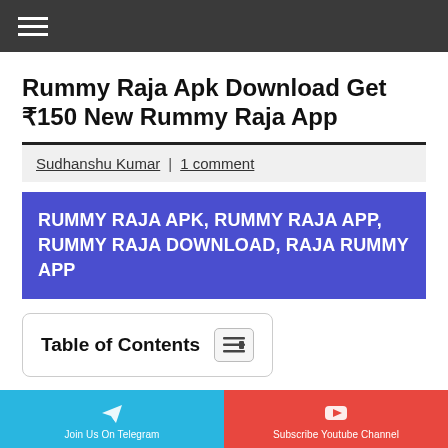≡
Rummy Raja Apk Download Get ₹150 New Rummy Raja App
Sudhanshu Kumar | 1 comment
RUMMY RAJA APK, RUMMY RAJA APP, RUMMY RAJA DOWNLOAD, RAJA RUMMY APP
Table of Contents
Rummy Raja, Rummy Raja App, Rummy Raja Apk Download, Rummy Raja App Download, Raja Rummy Download, Raja Rummy Apk Download, New Rummy
Join Us On Telegram | Subscribe Youtube Channel